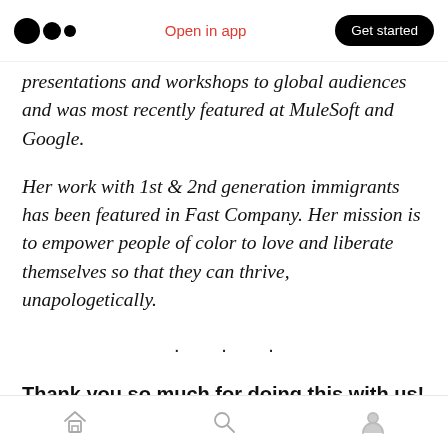Medium logo | Open in app | Get started
presentations and workshops to global audiences and was most recently featured at MuleSoft and Google.
Her work with 1st & 2nd generation immigrants has been featured in Fast Company. Her mission is to empower people of color to love and liberate themselves so that they can thrive, unapologetically.
· · ·
Thank you so much for doing this with us! Our readers would love to get to know you a bit
Home | Search | Profile